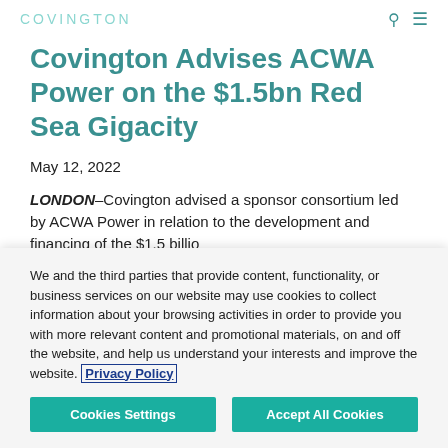COVINGTON
Covington Advises ACWA Power on the $1.5bn Red Sea Gigacity
May 12, 2022
LONDON–Covington advised a sponsor consortium led by ACWA Power in relation to the development and financing of the $1.5 billio...
We and the third parties that provide content, functionality, or business services on our website may use cookies to collect information about your browsing activities in order to provide you with more relevant content and promotional materials, on and off the website, and help us understand your interests and improve the website. Privacy Policy
Cookies Settings | Accept All Cookies